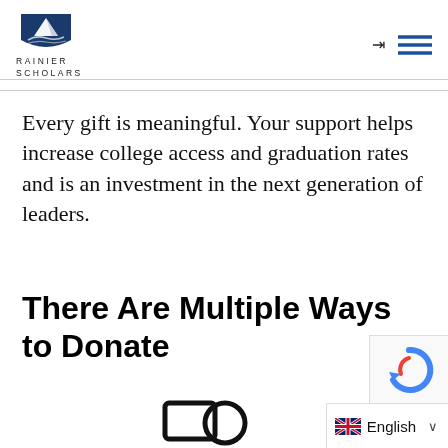[Figure (logo): Rainier Scholars logo: blue and white shield with mountain/landscape motif, with text RAINIER SCHOLARS below]
Every gift is meaningful. Your support helps increase college access and graduation rates and is an investment in the next generation of leaders.
There Are Multiple Ways to Donate